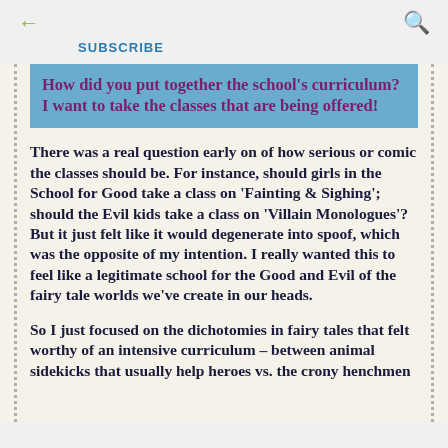← (back arrow)   SUBSCRIBE   🔍 (search icon)
How did you put together the school's curriculum? I want to take the classes that are being offered!
There was a real question early on of how serious or comic the classes should be. For instance, should girls in the School for Good take a class on 'Fainting & Sighing'; should the Evil kids take a class on 'Villain Monologues'? But it just felt like it would degenerate into spoof, which was the opposite of my intention. I really wanted this to feel like a legitimate school for the Good and Evil of the fairy tale worlds we've create in our heads.
So I just focused on the dichotomies in fairy tales that felt worthy of an intensive curriculum – between animal sidekicks that usually help heroes vs. the crony henchmen